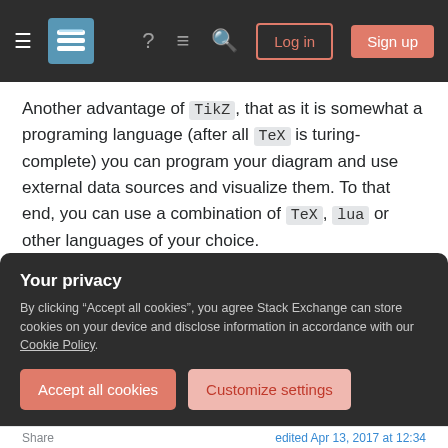Stack Exchange navigation bar with hamburger menu, logo, help, comments, search icons, Log in and Sign up buttons
Another advantage of TikZ, that as it is somewhat a programing language (after all TeX is turing-complete) you can program your diagram and use external data sources and visualize them. To that end, you can use a combination of TeX, lua or other languages of your choice.
Finally, and most important; TikZ provides an amazing live community which can help you with everything related to it. A perfect starting point would be the TeX.se.
Your privacy
By clicking "Accept all cookies", you agree Stack Exchange can store cookies on your device and disclose information in accordance with our Cookie Policy.
Accept all cookies
Customize settings
Share    edited Apr 13, 2017 at 12:34